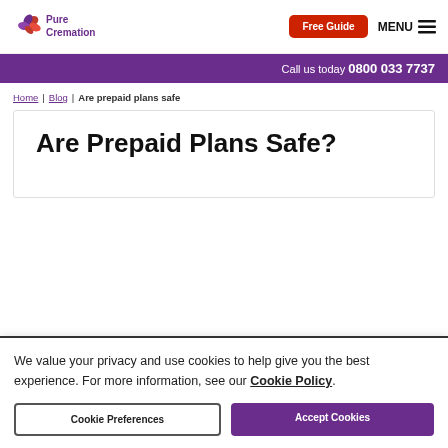[Figure (logo): Pure Cremation logo with stylized flower icon in purple/red]
Free Guide
MENU
Call us today 0800 033 7737
Home | Blog | Are prepaid plans safe
Are Prepaid Plans Safe?
We value your privacy and use cookies to help give you the best experience. For more information, see our Cookie Policy.
Cookie Preferences
Accept Cookies